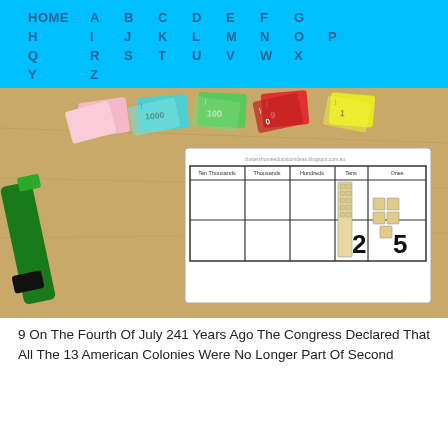HOME  A  B  C  D  E  F  G  H  I  J  K  L  M  N  O  P  Q  R  S  T  U  V  W  X  Y  Z
[Figure (photo): A place value worksheet/chart on a wooden desk with colorful number cards (pink 10000, teal 1000, green 100, red 10/9, yellow 1) and wooden base-ten blocks arranged to show 25, with a green marker to the left.]
9 On The Fourth Of July 241 Years Ago The Congress Declared That All The 13 American Colonies Were No Longer Part Of Second